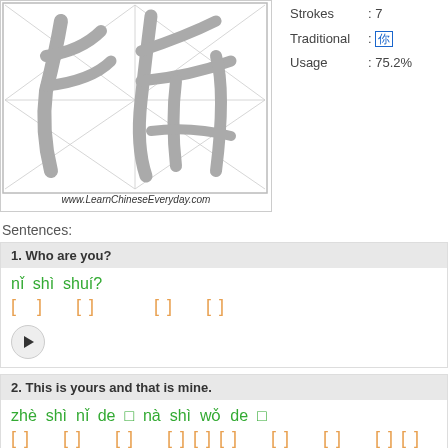[Figure (illustration): Chinese character stroke order diagram with grid lines, showing a character rendered in gray, with URL www.LearnChineseEveryday.com at bottom]
Strokes : 7
Traditional : []
Usage : 75.2%
Sentences:
1. Who are you? | nǐ shì shuí? | [Chinese characters] | play button
2. This is yours and that is mine. | zhè shì nǐ de □ nà shì wǒ de □ | [Chinese characters] | play button
[Figure (other): Social media share buttons: Facebook, Twitter, Google+, Pinterest, Email, LinkedIn, Tumblr]